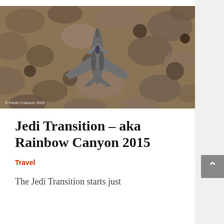[Figure (photo): Aerial/top-down photograph of an F-15 fighter jet flying low over rocky canyon terrain. The jet is gray, viewed from above, with swept wings. Rocky brown terrain fills the background. Photo credit: Kevin Coloson 2015.]
Jedi Transition – aka Rainbow Canyon 2015
Travel
The Jedi Transition starts just